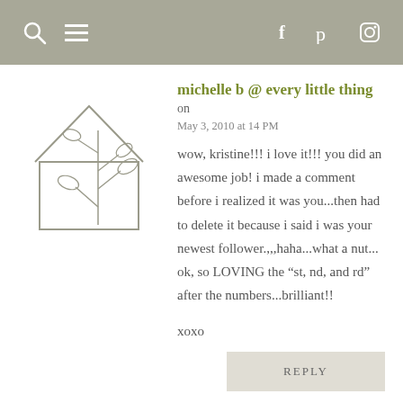navigation header with search, menu, facebook, pinterest, instagram icons
[Figure (illustration): Simple line drawing of a house outline with a plant/branch inside, in gray tones]
michelle b @ every little thing on May 3, 2010 at 14 PM
wow, kristine!!! i love it!!! you did an awesome job! i made a comment before i realized it was you...then had to delete it because i said i was your newest follower....haha...what a nut... ok, so LOVING the “st, nd, and rd” after the numbers...brilliant!!
xoxo